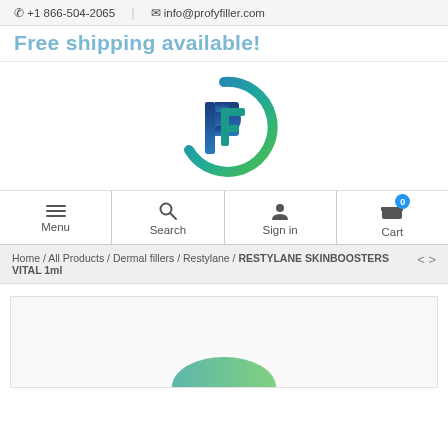+1 866-504-2065  |  info@profyfiller.com
Free shipping available!
[Figure (logo): ProfyFiller logo: stylized P and F letters with teal-to-green gradient circle arc]
Menu  Search  Sign in  Cart
Home / All Products / Dermal fillers / Restylane / RESTYLANE SKINBOOSTERS VITAL 1ml
[Figure (photo): Product image area for RESTYLANE SKINBOOSTERS VITAL 1ml, partially visible teal product at bottom]